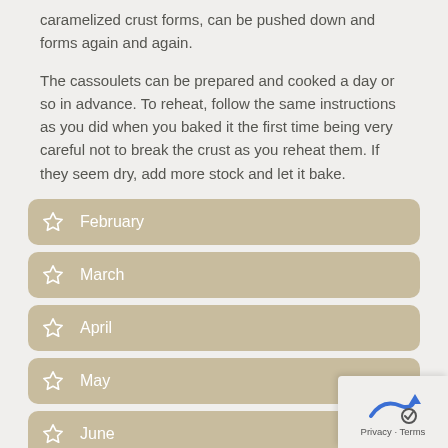caramelized crust forms, can be pushed down and forms again and again.
The cassoulets can be prepared and cooked a day or so in advance. To reheat, follow the same instructions as you did when you baked it the first time being very careful not to break the crust as you reheat them. If they seem dry, add more stock and let it bake.
February
March
April
May
June